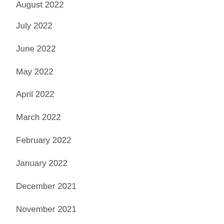August 2022
July 2022
June 2022
May 2022
April 2022
March 2022
February 2022
January 2022
December 2021
November 2021